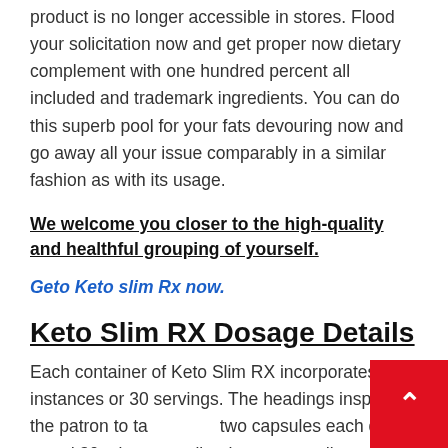product is no longer accessible in stores. Flood your solicitation now and get proper now dietary complement with one hundred percent all included and trademark ingredients. You can do this superb pool for your fats devouring now and go away all your issue comparably in a similar fashion as with its usage.
We welcome you closer to the high-quality and healthful grouping of yourself.
Geto Keto slim Rx now.
Keto Slim RX Dosage Details
Each container of Keto Slim RX incorporates 60 instances or 30 servings. The headings inspire the patron to take two capsules each day round 30 minutes earlier than dinner. The expression "dinners" looks like you take six instances each day and eat something which